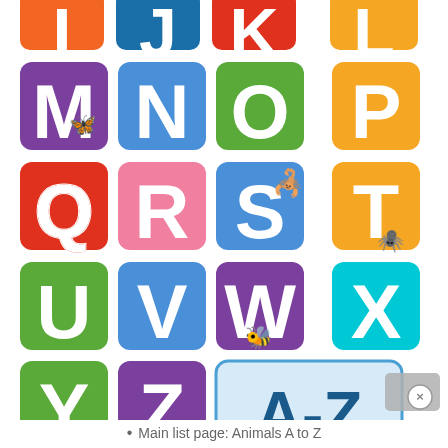[Figure (illustration): Colorful alphabet tile grid showing letters I through Z, plus an A-Z tile. Tiles are in various colors (orange, teal, red, blue, green, purple, pink, cyan) with white bold letters. Some tiles feature small insect/animal images: butterfly on M, scorpion on S, spider on T, wasp on W.]
Main list page: Animals A to Z